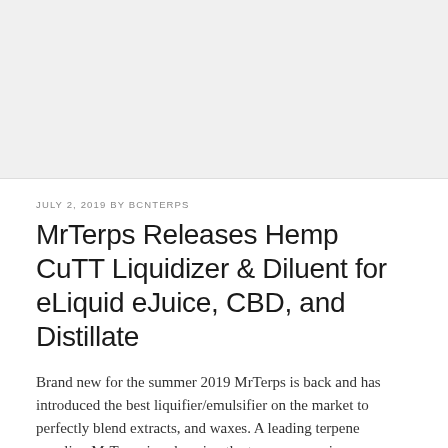[Figure (other): Gray placeholder image area at the top of the page]
JULY 2, 2019 BY BCNTERPS
MrTerps Releases Hemp CuTT Liquidizer & Diluent for eLiquid eJuice, CBD, and Distillate
Brand new for the summer 2019 MrTerps is back and has introduced the best liquifier/emulsifier on the market to perfectly blend extracts, and waxes. A leading terpene supplier, MrTerps is enhancing the terpene experience